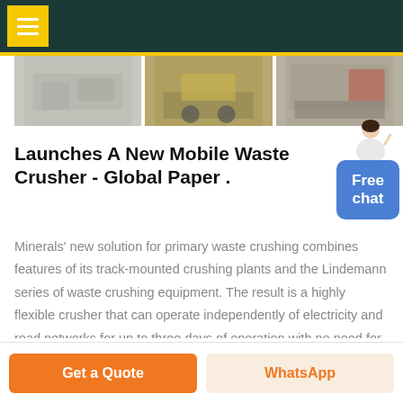[Figure (photo): Three industrial crusher/mining equipment photos side by side]
Launches A New Mobile Waste Crusher - Global Paper .
Minerals' new solution for primary waste crushing combines features of its track-mounted crushing plants and the Lindemann series of waste crushing equipment. The result is a highly flexible crusher that can operate independently of electricity and road networks for up to three days of operation with no need for refueling.
Get a Quote  WhatsApp